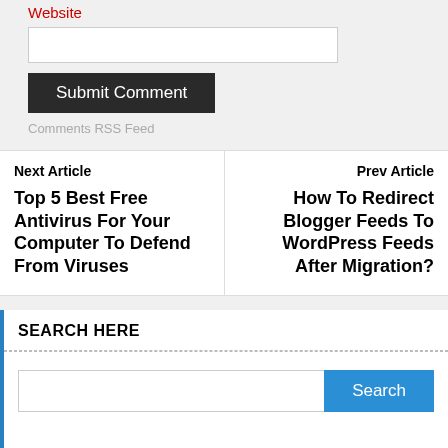Website
Submit Comment
Comments RSS Feed
Next Article
Top 5 Best Free Antivirus For Your Computer To Defend From Viruses
Prev Article
How To Redirect Blogger Feeds To WordPress Feeds After Migration?
SEARCH HERE
Search